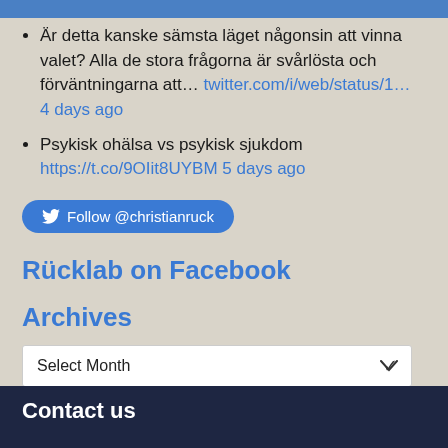Är detta kanske sämsta läget någonsin att vinna valet? Alla de stora frågorna är svårlösta och förväntningarna att… twitter.com/i/web/status/1… 4 days ago
Psykisk ohälsa vs psykisk sjukdom https://t.co/9OIit8UYBM 5 days ago
Follow @christianruck
Rücklab on Facebook
Archives
Select Month
Contact us